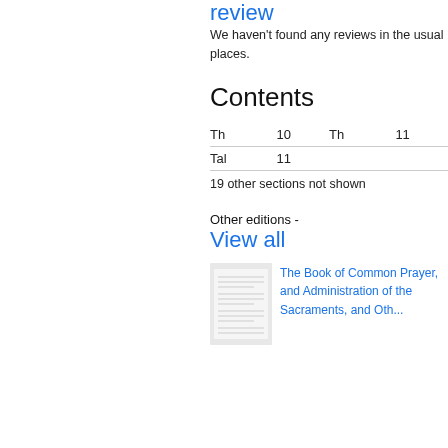review
We haven't found any reviews in the usual places.
Contents
| Th | 10 | Th | 11 |
| Tal | 11 |  |  |
19 other sections not shown
Other editions -
View all
[Figure (illustration): Thumbnail of The Book of Common Prayer book cover]
The Book of Common Prayer, and Administration of the Sacraments, and Oth...